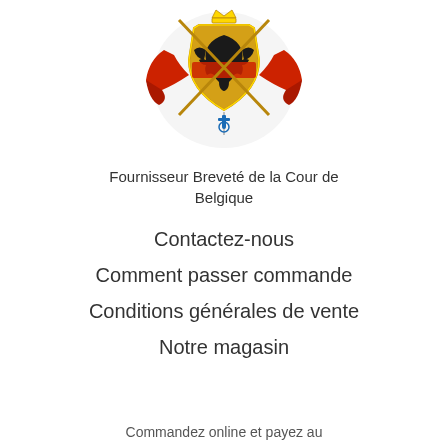[Figure (logo): Belgian royal coat of arms / warrant holder emblem with red ribbons and black eagle on gold shield, with blue cross pendant below]
Fournisseur Breveté de la Cour de Belgique
Contactez-nous
Comment passer commande
Conditions générales de vente
Notre magasin
Commandez online et payez au